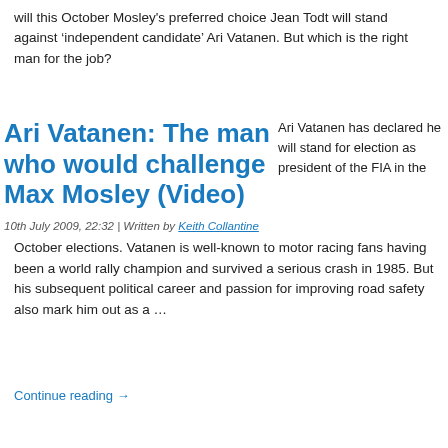will this October Mosley's preferred choice Jean Todt will stand against 'independent candidate' Ari Vatanen. But which is the right man for the job?
Ari Vatanen: The man who would challenge Max Mosley (Video)
Ari Vatanen has declared he will stand for election as president of the FIA in the October elections. Vatanen is well-known to motor racing fans having been a world rally champion and survived a serious crash in 1985. But his subsequent political career and passion for improving road safety also mark him out as a …
10th July 2009, 22:32 | Written by Keith Collantine
Continue reading →